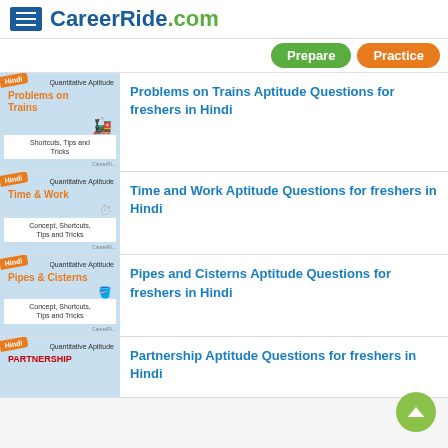CareerRide.com
Problems on Trains Aptitude Questions for freshers in Hindi
Time and Work Aptitude Questions for freshers in Hindi
Pipes and Cisterns Aptitude Questions for freshers in Hindi
Partnership Aptitude Questions for freshers in Hindi